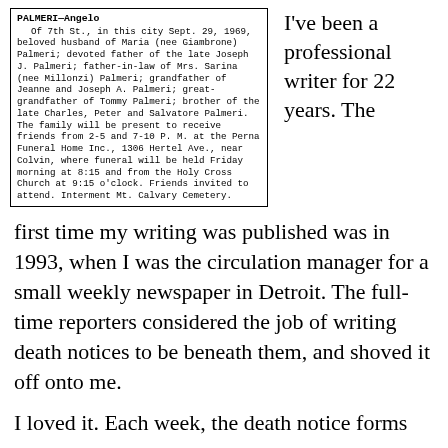[Figure (other): Newspaper obituary clipping for PALMERI—Angelo, describing family members and funeral arrangements at Perna Funeral Home Inc., Holy Cross Church, and Mt. Calvary Cemetery.]
I've been a professional writer for 22 years. The first time my writing was published was in 1993, when I was the circulation manager for a small weekly newspaper in Detroit. The full-time reporters considered the job of writing death notices to be beneath them, and shoved it off onto me.
I loved it. Each week, the death notice forms